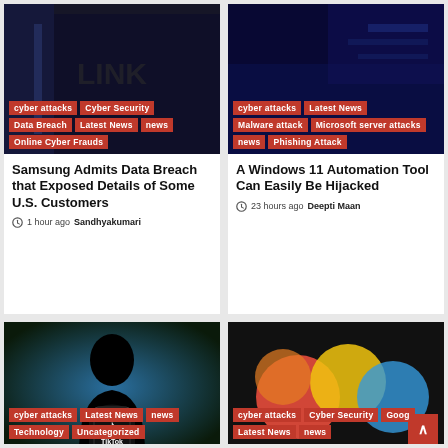[Figure (screenshot): Card 1: Dark cybersecurity themed image with red tags: cyber attacks, Cyber Security, Data Breach, Latest News, news, Online Cyber Frauds. Title: Samsung Admits Data Breach that Exposed Details of Some U.S. Customers. 1 hour ago Sandhyakumari]
[Figure (screenshot): Card 2: Dark blue server/Microsoft themed image with red tags: cyber attacks, Latest News, Malware attack, Microsoft server attacks, news, Phishing Attack. Title: A Windows 11 Automation Tool Can Easily Be Hijacked. 23 hours ago Deepti Maan]
[Figure (screenshot): Card 3: TikTok silhouette image with red tags: cyber attacks, Latest News, news, Technology, Uncategorized]
[Figure (screenshot): Card 4: Google/Meta colorful logo image with red tags: cyber attacks, Cyber Security, Goog, Latest News, news]